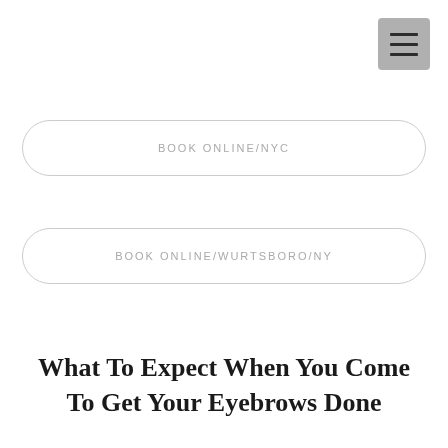[Figure (other): Hamburger menu icon button — grey square with three horizontal dark lines]
BOOK ONLINE/NYC
BOOK ONLINE/WURTSBORO/NY
What To Expect When You Come To Get Your Eyebrows Done